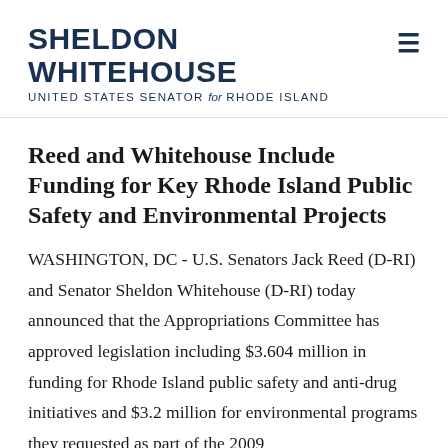SHELDON WHITEHOUSE UNITED STATES SENATOR for RHODE ISLAND
Reed and Whitehouse Include Funding for Key Rhode Island Public Safety and Environmental Projects
WASHINGTON, DC - U.S. Senators Jack Reed (D-RI) and Senator Sheldon Whitehouse (D-RI) today announced that the Appropriations Committee has approved legislation including $3.604 million in funding for Rhode Island public safety and anti-drug initiatives and $3.2 million for environmental programs they requested as part of the 2009